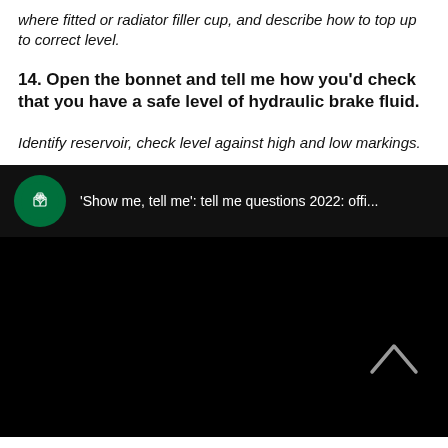where fitted or radiator filler cup, and describe how to top up to correct level.
14. Open the bonnet and tell me how you'd check that you have a safe level of hydraulic brake fluid.
Identify reservoir, check level against high and low markings.
[Figure (screenshot): Black video embed with UK Government green circular logo and title bar reading 'Show me, tell me': tell me questions 2022: offi... with a white chevron/up arrow in the lower right area.]